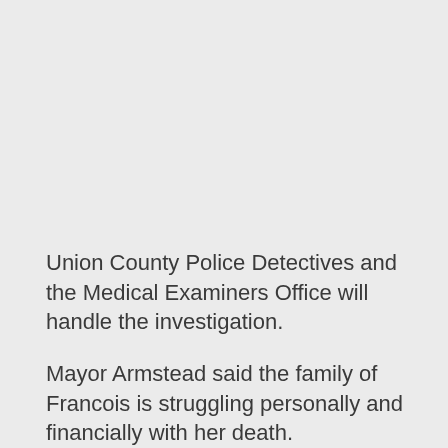Union County Police Detectives and the Medical Examiners Office will handle the investigation.
Mayor Armstead said the family of Francois is struggling personally and financially with her death.